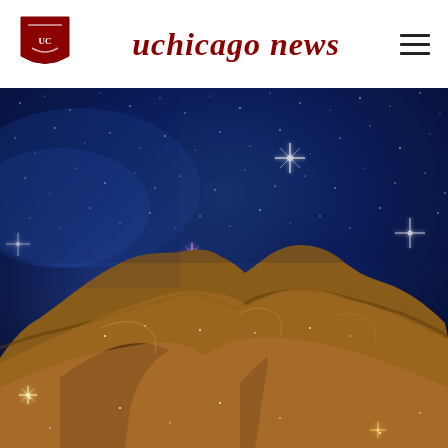uchicago news
[Figure (photo): James Webb Space Telescope image of the Carina Nebula, showing towering pillars of cosmic dust and gas (the 'Cosmic Cliffs') against a star-filled blue sky. The lower half shows golden-brown nebula pillars while the upper half displays deep blue space filled with stars.]